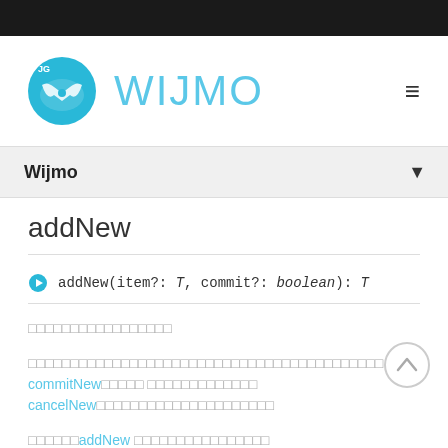[Figure (logo): Wijmo logo: blue circle with white bow-tie/mask icon and 'JG' text, beside 'WIJMO' text in light blue]
Wijmo
addNew
addNew(item?: T, commit?: boolean): T
□□□□□□□□□□□□□□□□□
□□□□□□□□□□□□□□□□□□□□□□□□□□□□□□□□□□□□□□□□□□ commitNew□□□□□ □□□□□□□□□□□□□ cancelNew□□□□□□□□□□□□□□□□□□□□□
□□□□□□addNew □□□□□□□□□□□□□□□□
// □□□□□□□□□□□□□□□□□□□□□□□□
var newItem = view.addNew();